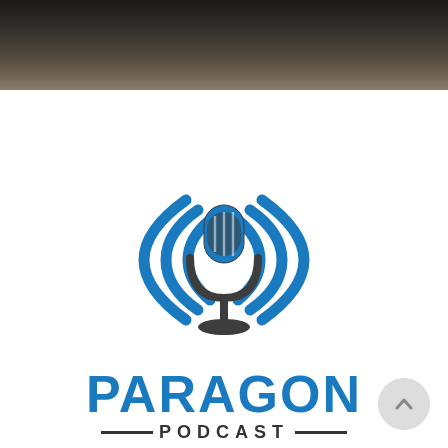[Figure (photo): Dark blurred photograph strip at the top of the page, showing a dimly lit room scene]
[Figure (logo): Paragon Podcast logo featuring a microphone with blue radio wave arcs on either side, the word PARAGON in large bold blue letters, and PODCAST in smaller spaced dark letters with dashes on either side]
[Figure (other): Circular scroll-to-top button in light grey with an upward chevron arrow, positioned bottom right]